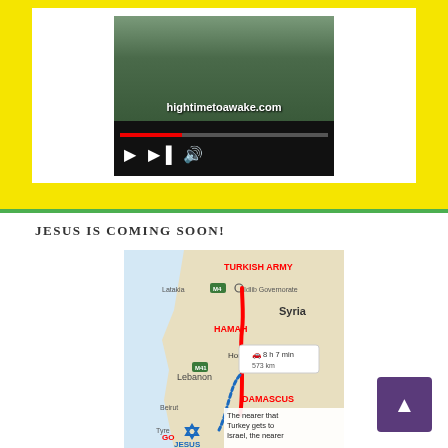[Figure (screenshot): Embedded video player showing a person's face with text overlay 'hightimetoawake.com' and playback controls including play, skip, and volume buttons with a red progress bar]
JESUS IS COMING SOON!
[Figure (map): Map showing route from Idlib Governorate (Turkish Army) southward through Hamah, Homs, Lebanon to Damascus via Syria. Red line traces the route. Blue Star of David near bottom labeled JESUS. Text overlay: 'The nearer that Turkey gets to Israel, the nearer'. Travel info bubble shows 8 h 7 min, 573 km.]